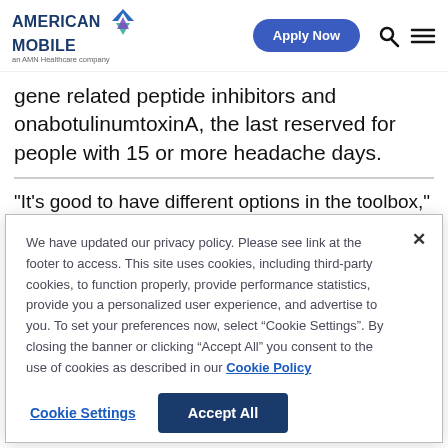AMERICAN MOBILE — an AMN Healthcare company | Apply Now
gene related peptide inhibitors and onabotulinumtoxinA, the last reserved for people with 15 or more headache days.
"It's good to have different options in the toolbox,"
We have updated our privacy policy. Please see link at the footer to access. This site uses cookies, including third-party cookies, to function properly, provide performance statistics, provide you a personalized user experience, and advertise to you. To set your preferences now, select “Cookie Settings”. By closing the banner or clicking “Accept All” you consent to the use of cookies as described in our Cookie Policy
Cookie Settings | Accept All